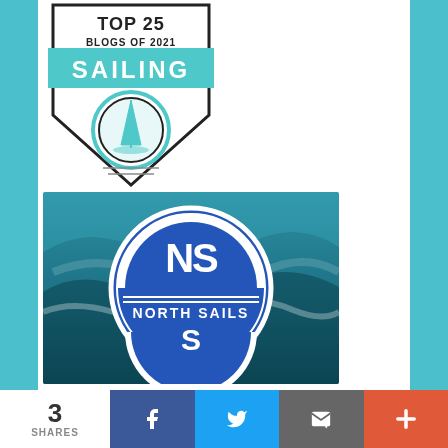[Figure (logo): Top 25 Sailing Blogs of 2021 badge — shield shape with teal banner reading SAILING and a sailboat circle icon, black outline on white background]
[Figure (logo): North Sails logo — blue circle with NS monogram and NORTH SAILS text, on ocean wave background photo]
3 SHARES
[Figure (infographic): Social share bar with Facebook (blue), Twitter (light blue), Email (grey), and plus/more (red-orange) buttons]